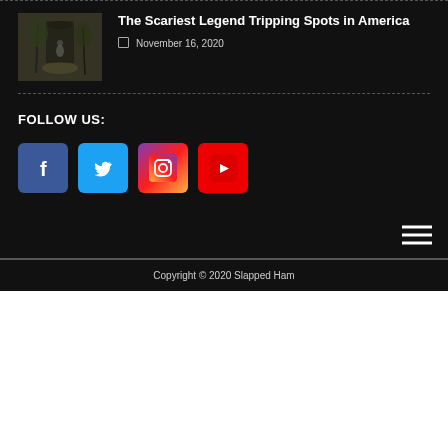[Figure (photo): Thumbnail photo of a spooky scene with trees and a figure]
The Scariest Legend Tripping Spots in America
November 16, 2020
FOLLOW US:
[Figure (logo): Facebook icon - blue square with white F]
[Figure (logo): Twitter icon - blue square with white bird]
[Figure (logo): Instagram icon - gradient square with camera outline]
[Figure (logo): YouTube icon - red square with white play button]
Copyright © 2020 Slapped Ham